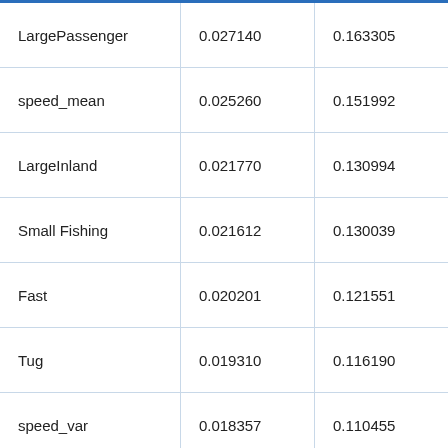| LargePassenger | 0.027140 | 0.163305 |
| speed_mean | 0.025260 | 0.151992 |
| LargeInland | 0.021770 | 0.130994 |
| Small Fishing | 0.021612 | 0.130039 |
| Fast | 0.020201 | 0.121551 |
| Tug | 0.019310 | 0.116190 |
| speed_var | 0.018357 | 0.110455 |
| LargePleasure | 0.017997 | 0.108288 |
| LargeFishing | 0.017677 | 0.106363 |